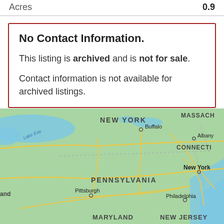| Acres |  |
| --- | --- |
| Acres | 0.9 |
No Contact Information.
This listing is archived and is not for sale.
Contact information is not available for archived listings.
[Figure (map): Map showing northeastern United States including New York, Pennsylvania, New Jersey, Connecticut, Massachusetts, with cities Buffalo, Albany, Pittsburgh, Philadelphia, New York labeled and roads/highways shown in yellow on green terrain background.]